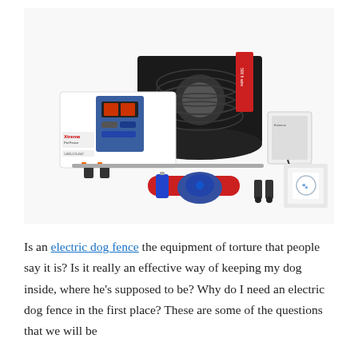[Figure (photo): Photo of an electric dog fence kit including a white transmitter unit with blue panel (Xtreme brand), a large spool of black boundary wire with red label, a power adapter/transformer, a metal ground stake, a red dog collar with blue receiver module, a battery, two spare contact probes, and white training flags/materials arranged on a white background.]
Is an electric dog fence the equipment of torture that people say it is? Is it really an effective way of keeping my dog inside, where he's supposed to be? Why do I need an electric dog fence in the first place? These are some of the questions that we will be